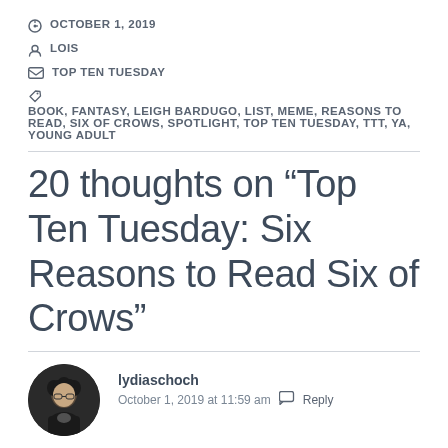OCTOBER 1, 2019
LOIS
TOP TEN TUESDAY
BOOK, FANTASY, LEIGH BARDUGO, LIST, MEME, REASONS TO READ, SIX OF CROWS, SPOTLIGHT, TOP TEN TUESDAY, TTT, YA, YOUNG ADULT
20 thoughts on “Top Ten Tuesday: Six Reasons to Read Six of Crows”
lydiaschoch
October 1, 2019 at 11:59 am
Reply